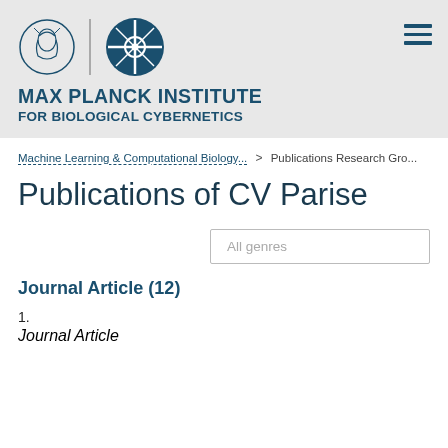MAX PLANCK INSTITUTE FOR BIOLOGICAL CYBERNETICS
Machine Learning & Computational Biology > Publications Research Gro...
Publications of CV Parise
All genres
Journal Article (12)
1.
Journal Article